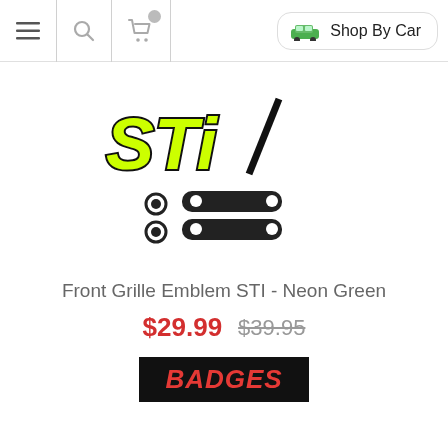≡  🔍  🛒  Shop By Car
[Figure (photo): STI Front Grille Emblem in neon green/yellow-green color, shown above mounting hardware components (two small round clips and two elongated bar brackets)]
Front Grille Emblem STI - Neon Green
$29.99  $39.95
[Figure (logo): BADGES brand logo — white italic bold text on black background]